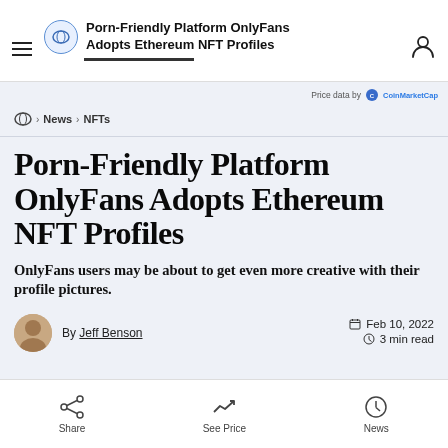Porn-Friendly Platform OnlyFans Adopts Ethereum NFT Profiles
Price data by CoinMarketCap
News › NFTs
Porn-Friendly Platform OnlyFans Adopts Ethereum NFT Profiles
OnlyFans users may be about to get even more creative with their profile pictures.
By Jeff Benson — Feb 10, 2022 — 3 min read
Share | See Price | News